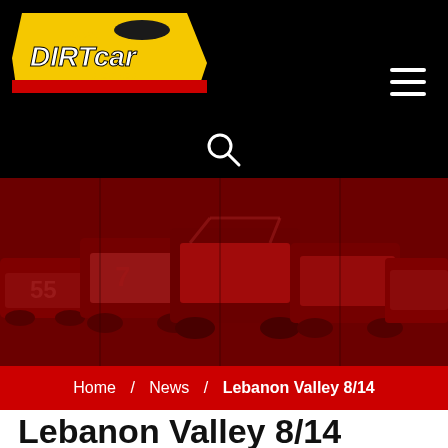[Figure (logo): Super DIRTcar Series logo with red and yellow design on black background]
[Figure (photo): Red-tinted photograph of dirt track race cars lined up in pit area]
Home / News / Lebanon Valley 8/14
Lebanon Valley 8/14